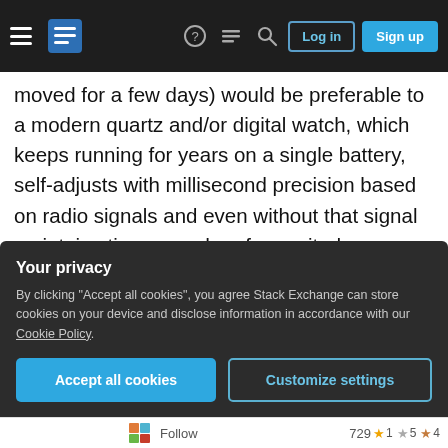Stack Exchange navigation bar with hamburger menu, logo, help, chat, search icons, Log in and Sign up buttons
moved for a few days) would be preferable to a modern quartz and/or digital watch, which keeps running for years on a single battery, self-adjusts with millisecond precision based on radio signals and even without that signal maintains time an order of magnitude more accurately than any mechanical watch.
To summarize: What kind of watches do modern commercial pilots actually wear? Or do they nowadays just use their cellphones for timekeeping
Your privacy
By clicking "Accept all cookies", you agree Stack Exchange can store cookies on your device and disclose information in accordance with our Cookie Policy.
Accept all cookies | Customize settings
Follow   729 ★1 ★5 ★4